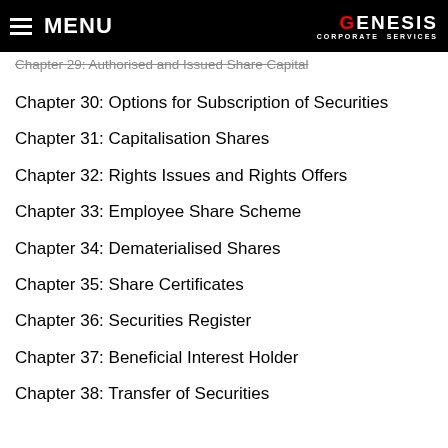MENU | GENESIS CORPORATE SERVICES
Chapter 29: Authorised and Issued Share Capital (strikethrough)
Chapter 30: Options for Subscription of Securities
Chapter 31: Capitalisation Shares
Chapter 32: Rights Issues and Rights Offers
Chapter 33: Employee Share Scheme
Chapter 34: Dematerialised Shares
Chapter 35: Share Certificates
Chapter 36: Securities Register
Chapter 37: Beneficial Interest Holder
Chapter 38: Transfer of Securities